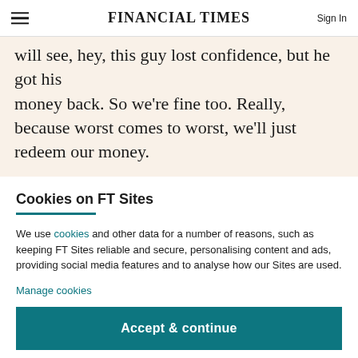FINANCIAL TIMES
will see, hey, this guy lost confidence, but he got his money back. So we're fine too. Really, because worst comes to worst, we'll just redeem our money.
Cookies on FT Sites
We use cookies and other data for a number of reasons, such as keeping FT Sites reliable and secure, personalising content and ads, providing social media features and to analyse how our Sites are used.
Manage cookies
Accept & continue